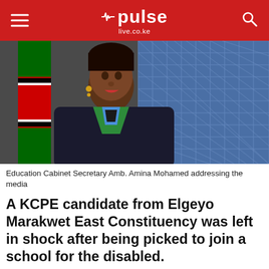pulse live.co.ke
[Figure (photo): Education Cabinet Secretary Amb. Amina Mohamed addressing the media — a woman in a dark blazer and colorful scarf speaking, with a Kenyan flag and patterned background visible]
Education Cabinet Secretary Amb. Amina Mohamed addressing the media
A KCPE candidate from Elgeyo Marakwet East Constituency was left in shock after being picked to join a school for the disabled.